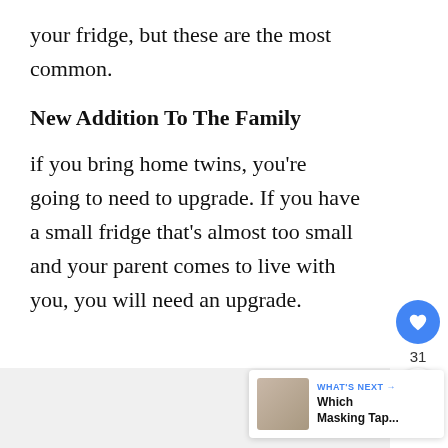your fridge, but these are the most common.
New Addition To The Family
if you bring home twins, you're going to need to upgrade. If you have a small fridge that's almost too small and your parent comes to live with you, you will need an upgrade.
[Figure (other): Gray image placeholder box at bottom of page]
[Figure (other): WHAT'S NEXT widget with thumbnail image and text 'Which Masking Tap...']